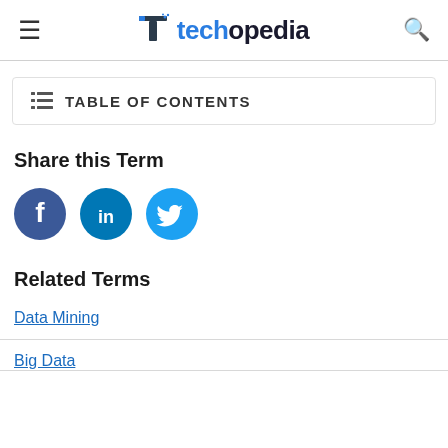techopedia
TABLE OF CONTENTS
Share this Term
[Figure (illustration): Social share icons: Facebook, LinkedIn, Twitter]
Related Terms
Data Mining
Big Data